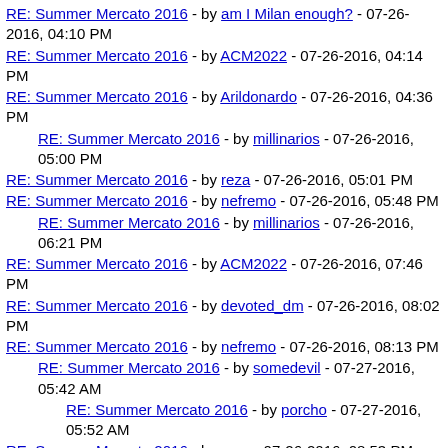RE: Summer Mercato 2016 - by am I Milan enough? - 07-26-2016, 04:10 PM
RE: Summer Mercato 2016 - by ACM2022 - 07-26-2016, 04:14 PM
RE: Summer Mercato 2016 - by Arildonardo - 07-26-2016, 04:36 PM
RE: Summer Mercato 2016 - by millinarios - 07-26-2016, 05:00 PM
RE: Summer Mercato 2016 - by reza - 07-26-2016, 05:01 PM
RE: Summer Mercato 2016 - by nefremo - 07-26-2016, 05:48 PM
RE: Summer Mercato 2016 - by millinarios - 07-26-2016, 06:21 PM
RE: Summer Mercato 2016 - by ACM2022 - 07-26-2016, 07:46 PM
RE: Summer Mercato 2016 - by devoted_dm - 07-26-2016, 08:02 PM
RE: Summer Mercato 2016 - by nefremo - 07-26-2016, 08:13 PM
RE: Summer Mercato 2016 - by somedevil - 07-27-2016, 05:42 AM
RE: Summer Mercato 2016 - by porcho - 07-27-2016, 05:52 AM
RE: Summer Mercato 2016 - by reza - 07-26-2016, 08:53 PM
RE: Summer Mercato 2016 - by ACM2022 - 07-26-2016,